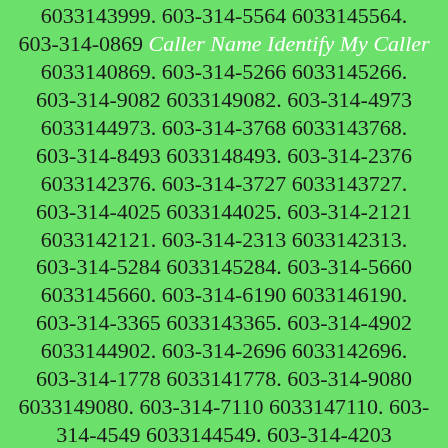6033143999. 603-314-5564 6033145564. 603-314-0869 Caller Name Identify My Caller 6033140869. 603-314-5266 6033145266. 603-314-9082 6033149082. 603-314-4973 6033144973. 603-314-3768 6033143768. 603-314-8493 6033148493. 603-314-2376 6033142376. 603-314-3727 6033143727. 603-314-4025 6033144025. 603-314-2121 6033142121. 603-314-2313 6033142313. 603-314-5284 6033145284. 603-314-5660 6033145660. 603-314-6190 6033146190. 603-314-3365 6033143365. 603-314-4902 6033144902. 603-314-2696 6033142696. 603-314-1778 6033141778. 603-314-9080 6033149080. 603-314-7110 6033147110. 603-314-4549 6033144549. 603-314-4203 6033144203. 603-314-1158 6033141158. 603-314-0668 Caller Name Identify My Caller 6033140668. 603-